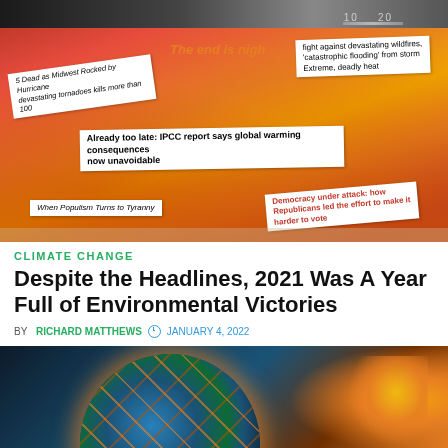[Figure (photo): Top partial image strip showing a ruler or scale with numbers 10 and 20 visible on dark background]
[Figure (photo): Collage image with fiery red/orange apocalyptic background and multiple newspaper headline clippings: 'The end is nigh', 'fight against devastating wildfires, catastrophic flooding from storm, Extreme, deadly heat', '5 Dead as Midwest Rocked by Hurricane devastating tornadoes kills more than 100', 'Already too late: IPCC report says global warming consequences now unavoidable', 'When Populism Turns to Tyranny', 'Democracy under attack: how Republicans led the effort to make it harder to vote']
CLIMATE CHANGE
Despite the Headlines, 2021 Was A Year Full of Environmental Victories
BY RICHARD MATTHEWS  JANUARY 4, 2022
[Figure (photo): Cracked Earth globe on fire with orange/yellow flames and glow on right side, dark background]